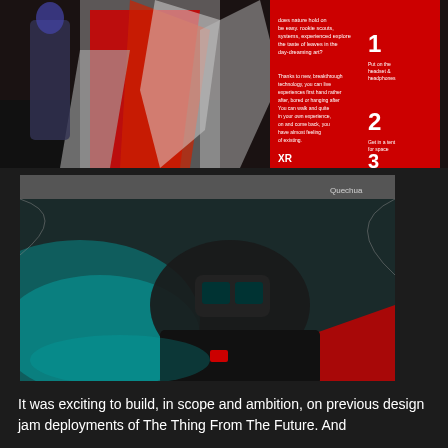[Figure (photo): Top photograph showing a red and grey tent setup at an indoor venue, with a person visible in the background and a red informational sign/poster with numbered steps visible on the right side of the image.]
[Figure (photo): Bottom photograph showing a person wearing VR headset/goggles lying inside a red and grey tent, illuminated by cyan/teal lighting. The tent interior is visible with the person looking up at the camera.]
It was exciting to build, in scope and ambition, on previous design jam deployments of The Thing From The Future. And